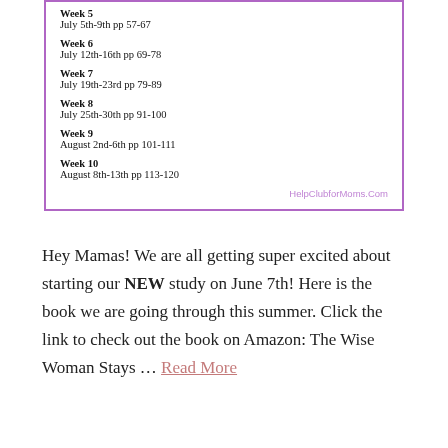Week 5
July 5th-9th pp 57-67
Week 6
July 12th-16th pp 69-78
Week 7
July 19th-23rd pp 79-89
Week 8
July 25th-30th pp 91-100
Week 9
August 2nd-6th pp 101-111
Week 10
August 8th-13th pp 113-120
HelpClubforMoms.Com
Hey Mamas! We are all getting super excited about starting our NEW study on June 7th! Here is the book we are going through this summer. Click the link to check out the book on Amazon: The Wise Woman Stays … Read More